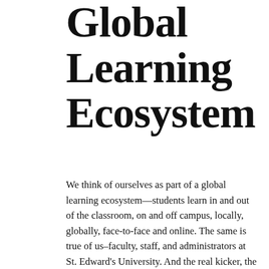Global Learning Ecosystem
We think of ourselves as part of a global learning ecosystem—students learn in and out of the classroom, on and off campus, locally, globally, face-to-face and online. The same is true of us–faculty, staff, and administrators at St. Edward's University. And the real kicker, the ecosystem is constantly changing. Some changes we drive, like discontinuing use of Blackboard, and some change is thrust upon us. Both our graduates and our colleagues need resilience to deal with all of this change. In the Office of Information Technology, we've been focusing on developing